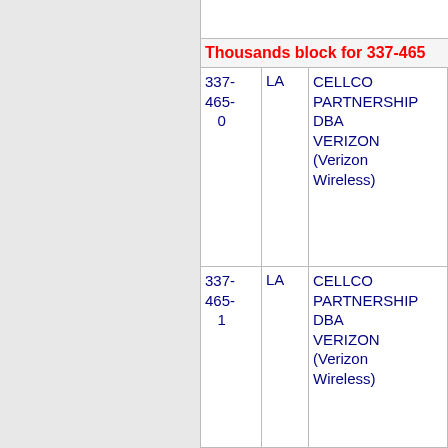| NPA-NXX-Block | State | Company | LATA | OCN/Type |
| --- | --- | --- | --- | --- |
| 337-465-0 | LA | CELLCO PARTNERSHIP DBA VERIZON (Verizon Wireless) | 6505 | NEW IE |
| 337-465-1 | LA | CELLCO PARTNERSHIP DBA VERIZON (Verizon Wireless) | 6505 | NEW IE |